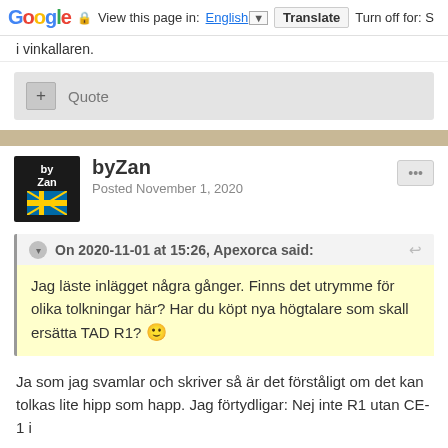Google  View this page in: English [▼]  Translate  Turn off for: S
i vinkallaren.
+ Quote
byZan
Posted November 1, 2020
On 2020-11-01 at 15:26, Apexorca said:
Jag läste inlägget några gånger. Finns det utrymme för olika tolkningar här? Har du köpt nya högtalare som skall ersätta TAD R1? 🙂
Ja som jag svamlar och skriver så är det förståligt om det kan tolkas lite hipp som happ. Jag förtydligar: Nej inte R1 utan CE-1 i